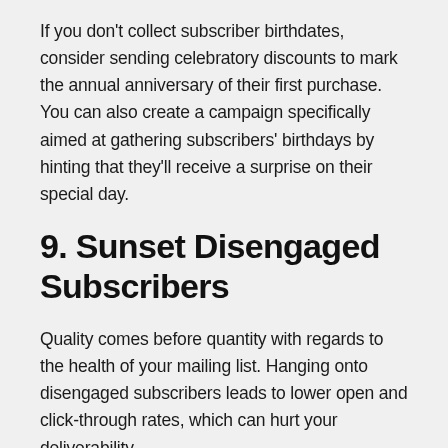If you don't collect subscriber birthdates, consider sending celebratory discounts to mark the annual anniversary of their first purchase. You can also create a campaign specifically aimed at gathering subscribers' birthdays by hinting that they'll receive a surprise on their special day.
9. Sunset Disengaged Subscribers
Quality comes before quantity with regards to the health of your mailing list. Hanging onto disengaged subscribers leads to lower open and click-through rates, which can hurt your deliverability.
Sunset disengaged subscribers on a regular basis